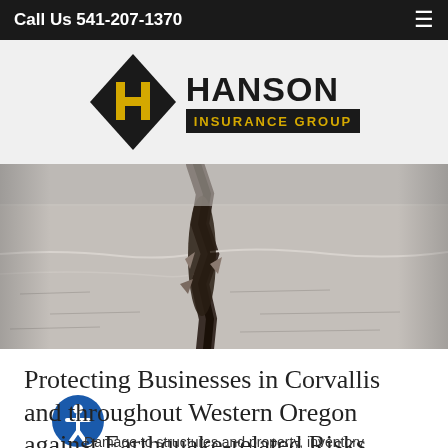Call Us 541-207-1370
[Figure (logo): Hanson Insurance Group logo — black diamond shape with a yellow H and the text HANSON INSURANCE GROUP]
[Figure (photo): Close-up photograph of cracked ground/pavement, showing earthquake damage with a deep fissure running through dry earth]
Protecting Businesses in Corvallis and throughout Western Oregon against Earthquake-related Risks
Damage to structures and property, inventory